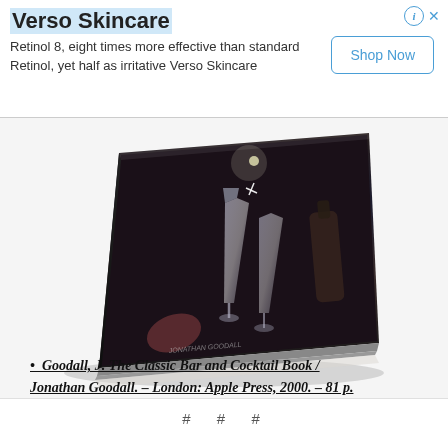[Figure (other): Advertisement banner for Verso Skincare with title, body text, Shop Now button, and info/close icons]
[Figure (photo): Photo of a hardcover book titled by Jonathan Goodall showing cocktail glasses on its cover, angled perspective with spine visible]
• Goodall, J. The Classic Bar and Cocktail Book / Jonathan Goodall. – London: Apple Press, 2000. – 81 p.
# # #